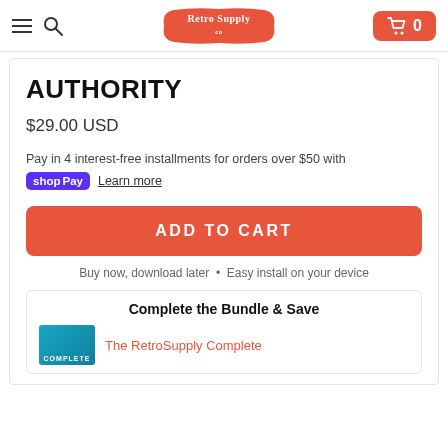RetroSupply Co — Navigation header with hamburger menu, search icon, logo, and cart button (0 items)
AUTHORITY
$29.00 USD
Pay in 4 interest-free installments for orders over $50 with shop Pay  Learn more
ADD TO CART
Buy now, download later • Easy install on your device
Complete the Bundle & Save
The RetroSupply Complete